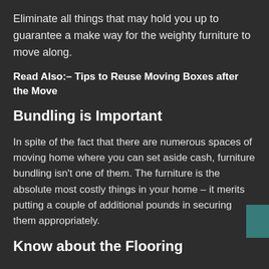Eliminate all things that may hold you up to guarantee a make way for the weighty furniture to move along.
Read Also:– Tips to Reuse Moving Boxes after the Move
Bundling is Important
In spite of the fact that there are numerous spaces of moving home where you can set aside cash, furniture bundling isn't one of them. The furniture is the absolute most costly things in your home – it merits putting a couple of additional pounds in securing them appropriately.
Know about the Flooring